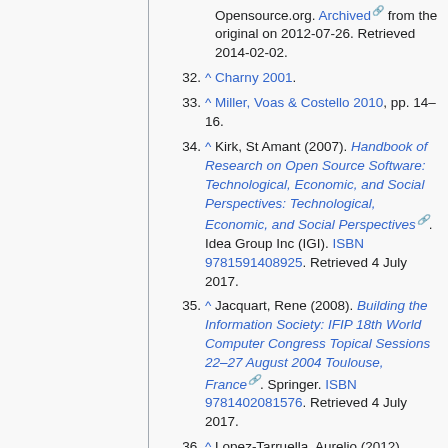(continuation) Opensource.org. Archived from the original on 2012-07-26. Retrieved 2014-02-02.
32. ^ Charny 2001.
33. ^ Miller, Voas & Costello 2010, pp. 14–16.
34. ^ Kirk, St Amant (2007). Handbook of Research on Open Source Software: Technological, Economic, and Social Perspectives: Technological, Economic, and Social Perspectives. Idea Group Inc (IGI). ISBN 9781591408925. Retrieved 4 July 2017.
35. ^ Jacquart, Rene (2008). Building the Information Society: IFIP 18th World Computer Congress Topical Sessions 22–27 August 2004 Toulouse, France. Springer. ISBN 9781402081576. Retrieved 4 July 2017.
36. ^ Lopez-Tarruella, Aurelio (2012).